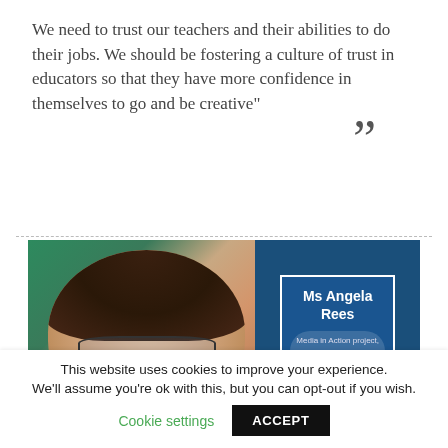We need to trust our teachers and their abilities to do their jobs. We should be fostering a culture of trust in educators so that they have more confidence in themselves to go and be creative"
[Figure (photo): Presentation slide photo showing Ms Angela Rees, Media in Action project, Pontydysgu, Wales. A woman with curly dark hair and glasses smiling, displayed on a conference screen with a blue name card overlay.]
This website uses cookies to improve your experience. We'll assume you're ok with this, but you can opt-out if you wish. Cookie settings ACCEPT